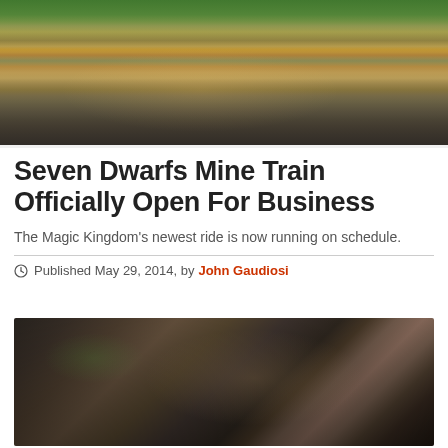[Figure (photo): Seven Dwarfs and Snow White characters on a stage at Magic Kingdom theme park, with crowd of spectators in foreground and trees in background]
Seven Dwarfs Mine Train Officially Open For Business
The Magic Kingdom's newest ride is now running on schedule.
Published May 29, 2014, by John Gaudiosi
[Figure (photo): Close-up photo of the Seven Dwarfs Mine Train ride, showing dark wooden mine train car details]